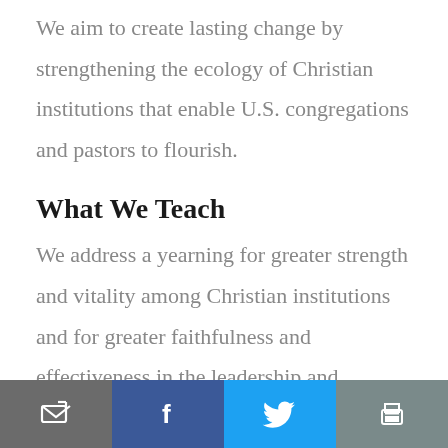We aim to create lasting change by strengthening the ecology of Christian institutions that enable U.S. congregations and pastors to flourish.
What We Teach
We address a yearning for greater strength and vitality among Christian institutions and for greater faithfulness and effectiveness in the leadership and management of those
Email | Facebook | Twitter | Print